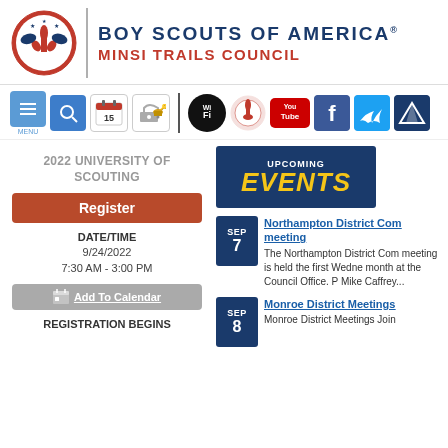[Figure (logo): Boy Scouts of America Minsi Trails Council logo with BSA emblem, vertical divider, and organization name in blue and red]
[Figure (screenshot): Navigation icon bar with menu, search, calendar, login, divider, wifi, fleur-de-lis, YouTube, Facebook, Twitter, and camping/tent icons]
2022 UNIVERSITY OF SCOUTING
Register
DATE/TIME
9/24/2022
7:30 AM - 3:00 PM
Add To Calendar
REGISTRATION BEGINS
[Figure (illustration): Upcoming Events banner with dark blue background, 'UPCOMING' in small white text and 'EVENTS' in large yellow italic text]
Northampton District Com meeting
The Northampton District Com meeting is held the first Wedne month at the Council Office. P Mike Caffrey...
Monroe District Meetings
Monroe District Meetings Join